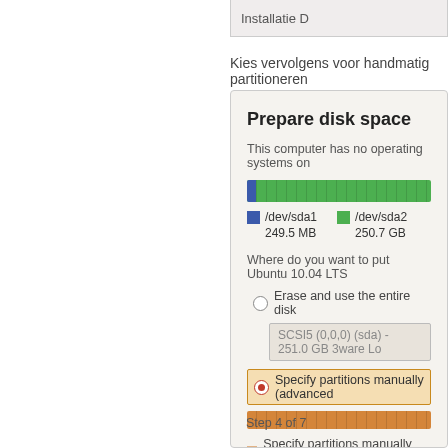Installatie D
Kies vervolgens voor handmatig partitioneren
Prepare disk space
This computer has no operating systems on
[Figure (infographic): Disk partition bar showing /dev/sda1 (249.5 MB, blue) and /dev/sda2 (250.7 GB, green)]
/dev/sda1  249.5 MB   /dev/sda2  250.7 GB
Where do you want to put Ubuntu 10.04 LTS
Erase and use the entire disk
SCSI5 (0,0,0) (sda) - 251.0 GB 3ware Lo
Specify partitions manually (advanced
Specify partitions manually (advanced)
Step 4 of 7